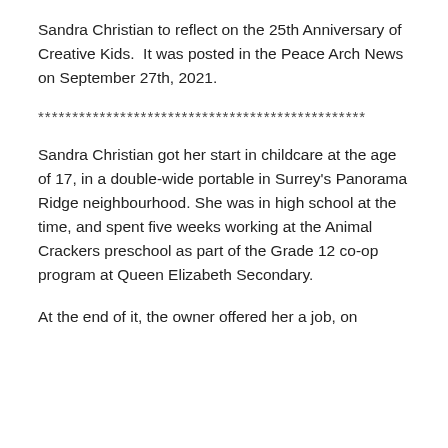Sandra Christian to reflect on the 25th Anniversary of Creative Kids.  It was posted in the Peace Arch News on September 27th, 2021.
************************************************
Sandra Christian got her start in childcare at the age of 17, in a double-wide portable in Surrey's Panorama Ridge neighbourhood. She was in high school at the time, and spent five weeks working at the Animal Crackers preschool as part of the Grade 12 co-op program at Queen Elizabeth Secondary.
At the end of it, the owner offered her a job, on